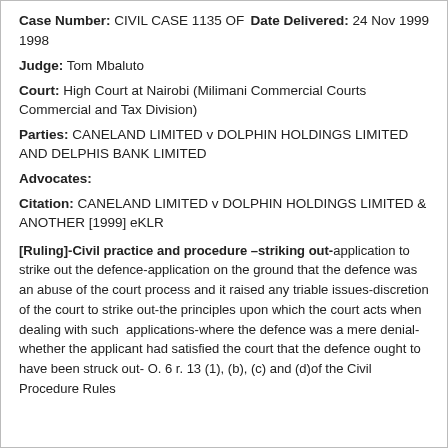Case Number: CIVIL CASE 1135 OF 1998   Date Delivered: 24 Nov 1999
Judge: Tom Mbaluto
Court: High Court at Nairobi (Milimani Commercial Courts Commercial and Tax Division)
Parties: CANELAND LIMITED v DOLPHIN HOLDINGS LIMITED AND DELPHIS BANK LIMITED
Advocates:
Citation: CANELAND LIMITED v DOLPHIN HOLDINGS LIMITED & ANOTHER [1999] eKLR
[Ruling]-Civil practice and procedure –striking out-application to strike out the defence-application on the ground that the defence was an abuse of the court process and it raised any triable issues-discretion of the court to strike out-the principles upon which the court acts when dealing with such  applications-where the defence was a mere denial-whether the applicant had satisfied the court that the defence ought to have been struck out- O. 6 r. 13 (1), (b), (c) and (d)of the Civil Procedure Rules